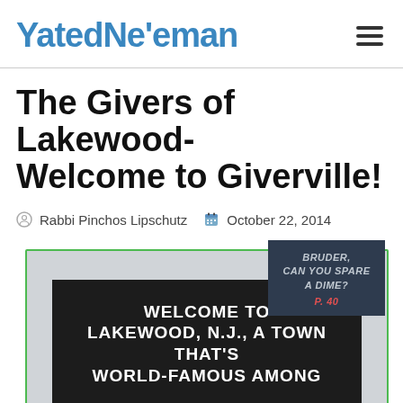Yated Ne'eman
The Givers of Lakewood- Welcome to Giverville!
Rabbi Pinchos Lipschutz   October 22, 2014
[Figure (photo): A welcome sign reading 'WELCOME TO LAKEWOOD, N.J., A TOWN THAT'S WORLD-FAMOUS AMONG' on a dark background, with an overlay card reading 'BRUDER, CAN YOU SPARE A DIME? P. 40']